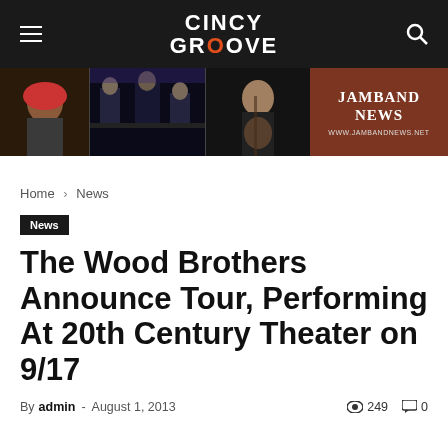CINCY GROOVE
[Figure (photo): Banner advertisement for JamBand News (www.jambandnews.net) featuring concert photos on left and brown background with site branding on right]
Home › News
News
The Wood Brothers Announce Tour, Performing At 20th Century Theater on 9/17
By admin - August 1, 2013  👁 249  💬 0